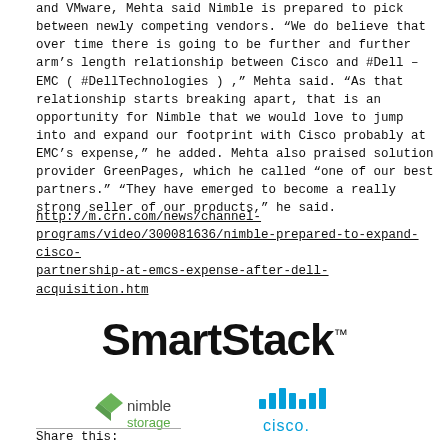and VMware, Mehta said Nimble is prepared to pick between newly competing vendors. “We do believe that over time there is going to be further and further arm’s length relationship between Cisco and #Dell – EMC ( #DellTechnologies ) ,” Mehta said. “As that relationship starts breaking apart, that is an opportunity for Nimble that we would love to jump into and expand our footprint with Cisco probably at EMC’s expense,” he added. Mehta also praised solution provider GreenPages, which he called “one of our best partners.” “They have emerged to become a really strong seller of our products,” he said.
http://m.crn.com/news/channel-programs/video/300081636/nimble-prepared-to-expand-cisco-partnership-at-emcs-expense-after-dell-acquisition.htm
[Figure (logo): SmartStack logo with Nimble Storage and Cisco sub-logos below]
Share this: